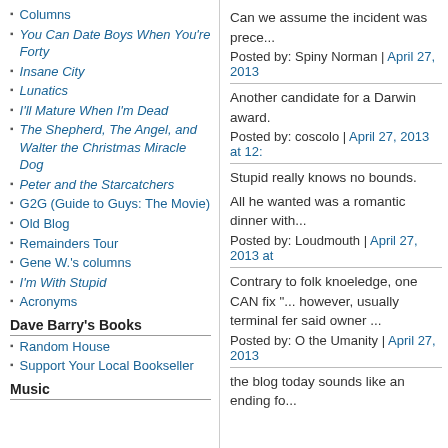Columns
You Can Date Boys When You're Forty
Insane City
Lunatics
I'll Mature When I'm Dead
The Shepherd, The Angel, and Walter the Christmas Miracle Dog
Peter and the Starcatchers
G2G (Guide to Guys: The Movie)
Old Blog
Remainders Tour
Gene W.'s columns
I'm With Stupid
Acronyms
Dave Barry's Books
Random House
Support Your Local Bookseller
Music
Can we assume the incident was prece...
Posted by: Spiny Norman | April 27, 2013
Another candidate for a Darwin award.
Posted by: coscolo | April 27, 2013 at 12:...
Stupid really knows no bounds.
All he wanted was a romantic dinner with...
Posted by: Loudmouth | April 27, 2013 at...
Contrary to folk knoeledge, one CAN fix "... however, usually terminal fer said owner ...
Posted by: O the Umanity | April 27, 2013...
the blog today sounds like an ending fo...